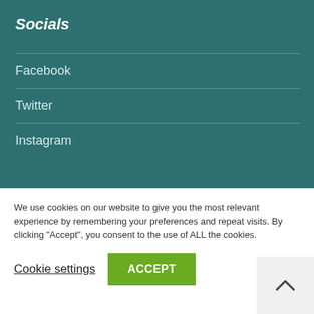Socials
Facebook
Twitter
Instagram
We use cookies on our website to give you the most relevant experience by remembering your preferences and repeat visits. By clicking “Accept”, you consent to the use of ALL the cookies.
Cookie settings
ACCEPT